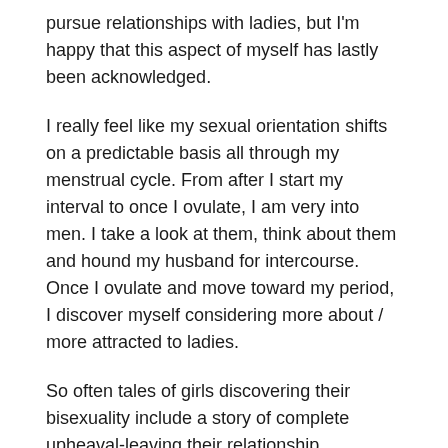pursue relationships with ladies, but I'm happy that this aspect of myself has lastly been acknowledged.
I really feel like my sexual orientation shifts on a predictable basis all through my menstrual cycle. From after I start my interval to once I ovulate, I am very into men. I take a look at them, think about them and hound my husband for intercourse. Once I ovulate and move toward my period, I discover myself considering more about / more attracted to ladies.
So often tales of girls discovering their bisexuality include a story of complete upheaval-leaving their relationship, changing their id, etc. I've never wanted any of this, however all the time felt guilty, like I was doing it incorrect as a result of I didn't wish to uproot everything good in my life. As a bisexual lady, it has always been the case that my sexuality